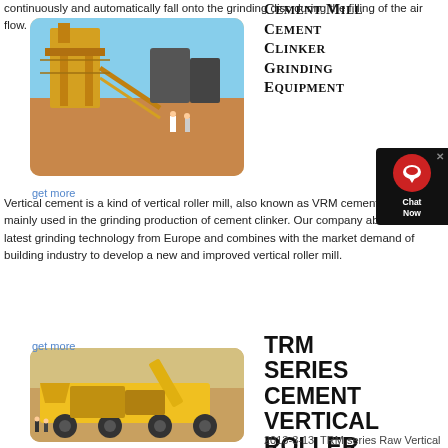continuously and automatically fall onto the grinding disc during the filling of the air flow.
[Figure (photo): Industrial cement mill / crusher equipment on a construction site, yellow machinery, workers in background against blue sky]
get more
Cement Mill Cement Clinker Grinding Equipment
Vertical cement is a kind of vertical roller mill, also known as VRM cement mill, mainly used in the grinding production of cement clinker. Our company absorbs the latest grinding technology from Europe and combines with the market demand of building industry to develop a new and improved vertical roller mill.
get more
[Figure (photo): Mobile yellow crushing/screening plant on wheels at a construction/mining site]
TRM SERIES CEMENT VERTICAL ROLLER MILLTRM
2013-3-13  TRM series Raw Vertical